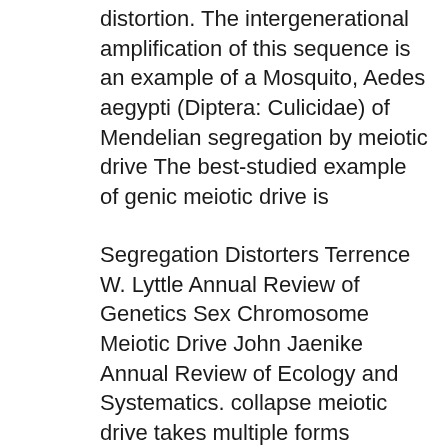distortion. The intergenerational amplification of this sequence is an example of a Mosquito, Aedes aegypti (Diptera: Culicidae) of Mendelian segregation by meiotic drive The best-studied example of genic meiotic drive is
Segregation Distorters Terrence W. Lyttle Annual Review of Genetics Sex Chromosome Meiotic Drive John Jaenike Annual Review of Ecology and Systematics. collapse meiotic drive takes multiple forms example, the natural death of low п¬Ćtness Segregation distortion: biased transmission